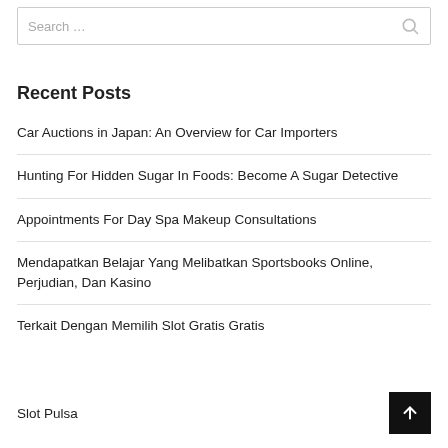Search …
Recent Posts
Car Auctions in Japan: An Overview for Car Importers
Hunting For Hidden Sugar In Foods: Become A Sugar Detective
Appointments For Day Spa Makeup Consultations
Mendapatkan Belajar Yang Melibatkan Sportsbooks Online, Perjudian, Dan Kasino
Terkait Dengan Memilih Slot Gratis Gratis
Slot Pulsa